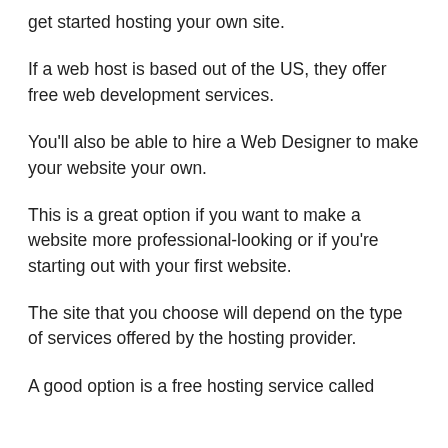get started hosting your own site.
If a web host is based out of the US, they offer free web development services.
You'll also be able to hire a Web Designer to make your website your own.
This is a great option if you want to make a website more professional-looking or if you're starting out with your first website.
The site that you choose will depend on the type of services offered by the hosting provider.
A good option is a free hosting service called